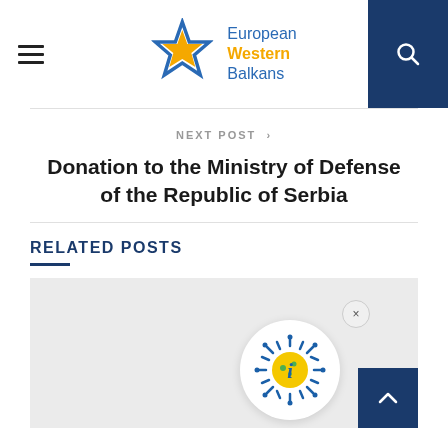[Figure (logo): European Western Balkans logo with star icon and text]
NEXT POST >
Donation to the Ministry of Defense of the Republic of Serbia
RELATED POSTS
[Figure (screenshot): Grey card area showing a floating coronavirus-style info icon bubble with blue spikes and a yellow center with italic letter i, a close X button, and a dark blue scroll-to-top arrow button]